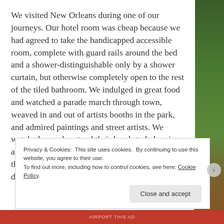We visited New Orleans during one of our journeys. Our hotel room was cheap because we had agreed to take the handicapped accessible room, complete with guard rails around the bed and a shower-distinguishable only by a shower curtain, but otherwise completely open to the rest of the tiled bathroom. We indulged in great food and watched a parade march through town, weaved in and out of artists booths in the park, and admired paintings and street artists. We watched crowds extend their hands to balconies and shout excitedly as beads were tossed to them.  A year later, hurricane Katrina would devastate the entire area.
Privacy & Cookies: This site uses cookies. By continuing to use this website, you agree to their use.
To find out more, including how to control cookies, see here: Cookie Policy